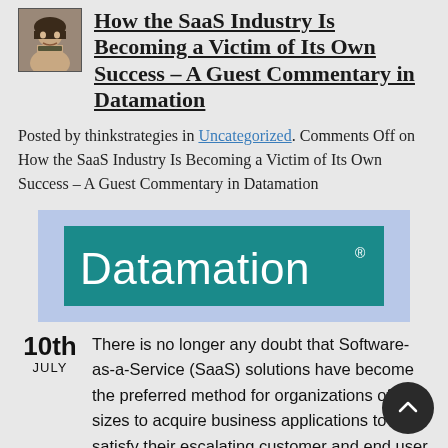How the SaaS Industry Is Becoming a Victim of Its Own Success – A Guest Commentary in Datamation
Posted by thinkstrategies in Uncategorized. Comments Off on How the SaaS Industry Is Becoming a Victim of Its Own Success – A Guest Commentary in Datamation
[Figure (logo): Datamation logo — white text on teal background rectangle, inside a light blue container]
10th JULY There is no longer any doubt that Software-as-a-Service (SaaS) solutions have become the preferred method for organizations of all sizes to acquire business applications to satisfy their escalating customer and end user demands while keeping